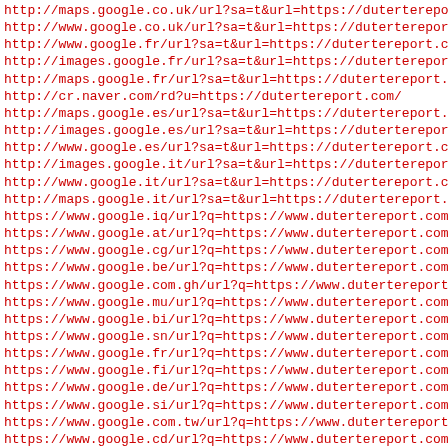http://maps.google.co.uk/url?sa=t&url=https://dutertereport.
http://www.google.co.uk/url?sa=t&url=https://dutertereport.
http://www.google.fr/url?sa=t&url=https://dutertereport.com
http://images.google.fr/url?sa=t&url=https://dutertereport.
http://maps.google.fr/url?sa=t&url=https://dutertereport.co
http://cr.naver.com/rd?u=https://dutertereport.com/
http://maps.google.es/url?sa=t&url=https://dutertereport.co
http://images.google.es/url?sa=t&url=https://dutertereport.
http://www.google.es/url?sa=t&url=https://dutertereport.com
http://images.google.it/url?sa=t&url=https://dutertereport.
http://www.google.it/url?sa=t&url=https://dutertereport.com
http://maps.google.it/url?sa=t&url=https://dutertereport.co
https://www.google.iq/url?q=https://www.dutertereport.com/
https://www.google.at/url?q=https://www.dutertereport.com/
https://www.google.cg/url?q=https://www.dutertereport.com/
https://www.google.be/url?q=https://www.dutertereport.com/
https://www.google.com.gh/url?q=https://www.dutertereport.c
https://www.google.mu/url?q=https://www.dutertereport.com/
https://www.google.bi/url?q=https://www.dutertereport.com/
https://www.google.sn/url?q=https://www.dutertereport.com/
https://www.google.fr/url?q=https://www.dutertereport.com/
https://www.google.fi/url?q=https://www.dutertereport.com/
https://www.google.de/url?q=https://www.dutertereport.com/
https://www.google.si/url?q=https://www.dutertereport.com/
https://www.google.com.tw/url?q=https://www.dutertereport.c
https://www.google.cd/url?q=https://www.dutertereport.com/
https://www.google.bj/url?q=https://www.dutertereport.com/
https://www.google.com.do/url?q=https://www.dutertereport.c
https://www.google.mn/url?q=https://www.dutertereport.com/